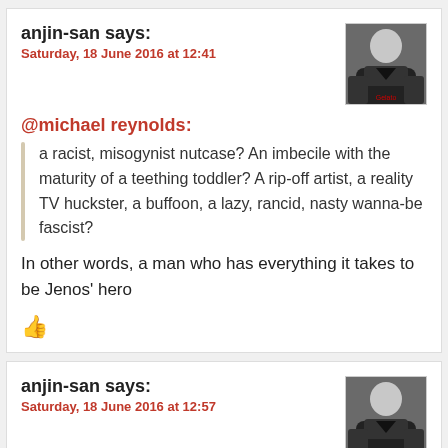anjin-san says:
Saturday, 18 June 2016 at 12:41
@michael reynolds:
a racist, misogynist nutcase? An imbecile with the maturity of a teething toddler? A rip-off artist, a reality TV huckster, a buffoon, a lazy, rancid, nasty wanna-be fascist?
In other words, a man who has everything it takes to be Jenos’ hero
anjin-san says:
Saturday, 18 June 2016 at 12:57
@Liberal Capitalist:
the political skills of a Nixon,